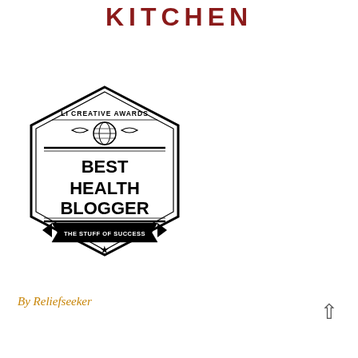KITCHEN
[Figure (illustration): LI Creative Awards badge/seal shaped as a hexagon with text reading 'LI CREATIVE AWARDS', a globe icon with decorative flourishes, 'BEST HEALTH BLOGGER', and 'THE STUFF OF SUCCESS' on a banner with a star below it. Black and white design.]
By Reliefseeker
^